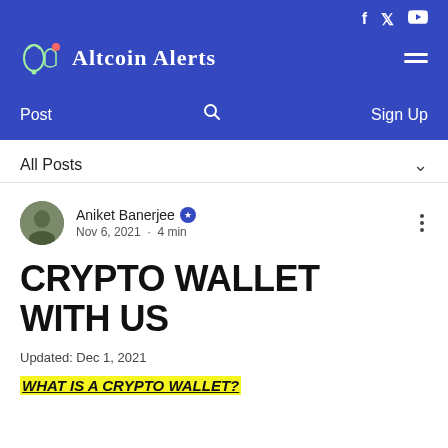Altcoin Alerts — social icons: f, twitter, youtube; navigation: Post, Search, Sign Up
All Posts
Aniket Banerjee · Nov 6, 2021 · 4 min
CRYPTO WALLET WITH US
Updated: Dec 1, 2021
WHAT IS A CRYPTO WALLET?